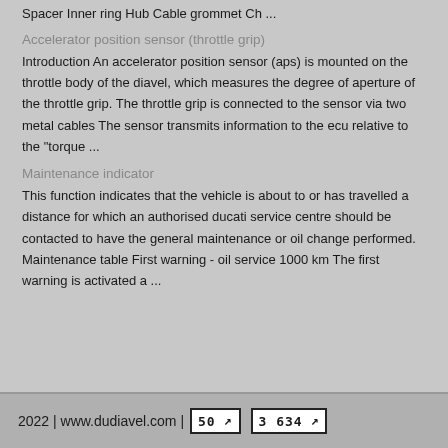Spacer Inner ring Hub Cable grommet Ch ...
Accelerator position sensor (throttle grip)
Introduction An accelerator position sensor (aps) is mounted on the throttle body of the diavel, which measures the degree of aperture of the throttle grip. The throttle grip is connected to the sensor via two metal cables The sensor transmits information to the ecu relative to the "torque ...
Maintenance indicator
This function indicates that the vehicle is about to or has travelled a distance for which an authorised ducati service centre should be contacted to have the general maintenance or oil change performed. Maintenance table First warning - oil service 1000 km The first warning is activated a ...
2022 | www.dudiavel.com | 50 | 3 634